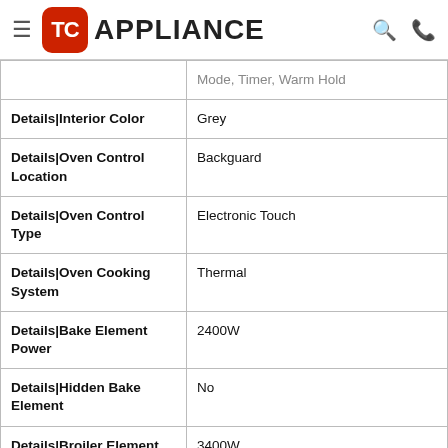TC APPLIANCE
| Attribute | Value |
| --- | --- |
|  | Mode, Timer, Warm Hold |
| Details|Interior Color | Grey |
| Details|Oven Control Location | Backguard |
| Details|Oven Control Type | Electronic Touch |
| Details|Oven Cooking System | Thermal |
| Details|Bake Element Power | 2400W |
| Details|Hidden Bake Element | No |
| Details|Broiler Element Power | 3400W |
| Details|Broiler | Top of Oven |